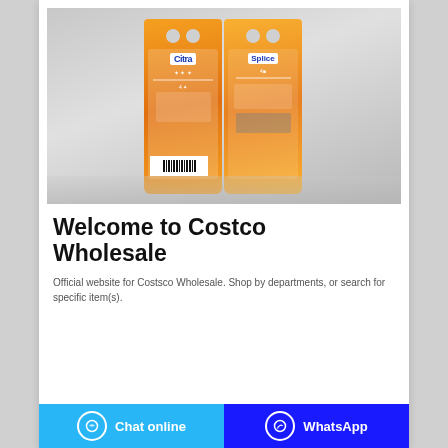[Figure (photo): Two orange plastic detergent bags standing side by side on a light gray background, with product labels and a barcode visible on the front.]
Welcome to Costco Wholesale
Official website for Costsco Wholesale. Shop by departments, or search for specific item(s).
Chat online   WhatsApp